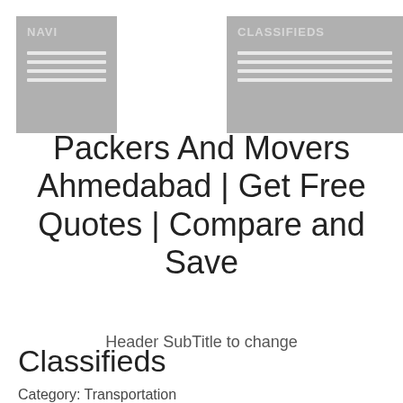NAVI
CLASSIFIEDS
Packers And Movers Ahmedabad | Get Free Quotes | Compare and Save
Header SubTitle to change
Classifieds
Category: Transportation
Packers And Movers Ahmedabad |